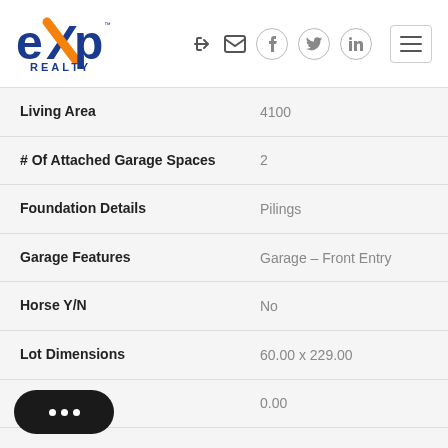[Figure (logo): eXp Realty logo with blue and orange branding]
| Property | Value |
| --- | --- |
| Living Area | 4100 |
| # Of Attached Garage Spaces | 2 |
| Foundation Details | Pilings |
| Garage Features | Garage - Front Entry |
| Horse Y/N | No |
| Lot Dimensions | 60.00 x 229.00 |
| Acres | 0.00 |